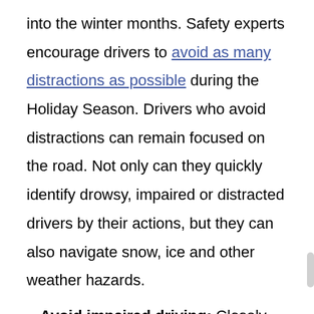into the winter months. Safety experts encourage drivers to avoid as many distractions as possible during the Holiday Season. Drivers who avoid distractions can remain focused on the road. Not only can they quickly identify drowsy, impaired or distracted drivers by their actions, but they can also navigate snow, ice and other weather hazards.
Avoid impaired driving: Closely following the previous tip, drivers should avoid any type of impaired driving. While this certainly means